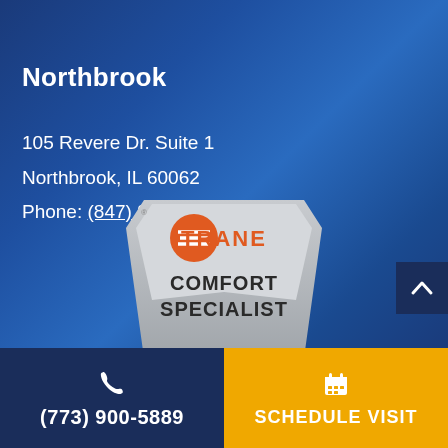Northbrook
105 Revere Dr. Suite 1
Northbrook, IL 60062
Phone: (847) 908-5228
[Figure (logo): Trane Comfort Specialist badge/logo - a silver shield shape with orange Trane logo at top and text COMFORT SPECIALIST below]
(773) 900-5889
SCHEDULE VISIT